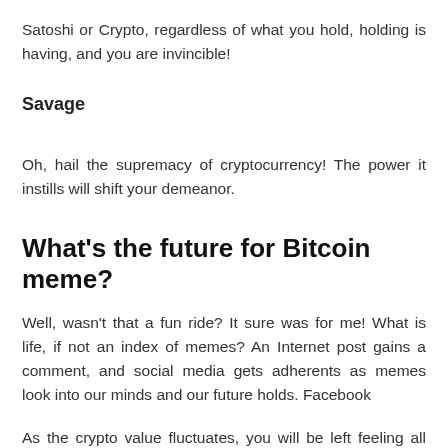Satoshi or Crypto, regardless of what you hold, holding is having, and you are invincible!
Savage
Oh, hail the supremacy of cryptocurrency! The power it instills will shift your demeanor.
What's the future for Bitcoin meme?
Well, wasn't that a fun ride? It sure was for me! What is life, if not an index of memes? An Internet post gains a comment, and social media gets adherents as memes look into our minds and our future holds. Facebook
As the crypto value fluctuates, you will be left feeling all the